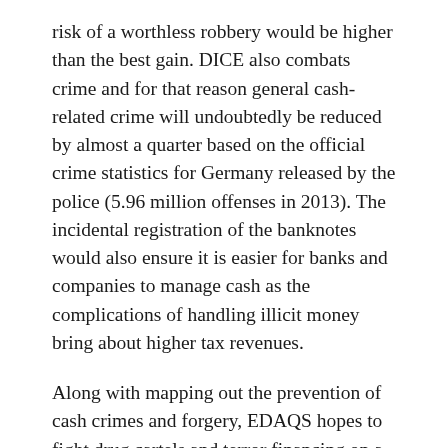risk of a worthless robbery would be higher than the best gain. DICE also combats crime and for that reason general cash-related crime will undoubtedly be reduced by almost a quarter based on the official crime statistics for Germany released by the police (5.96 million offenses in 2013). The incidental registration of the banknotes would also ensure it is easier for banks and companies to manage cash as the complications of handling illicit money bring about higher tax revenues.
Along with mapping out the prevention of cash crimes and forgery, EDAQS hopes to fight drug cartels and terror financing on a totally different level. The remote deactivation of banknotes opens up new effective tools in the fight the financing of terrorism. From drug cartels to Mafia organizations, the ever-present chance for the money being devalued later and the potential of determining the last retailer scanned position makes cash uninteresting and risky. With a profound change